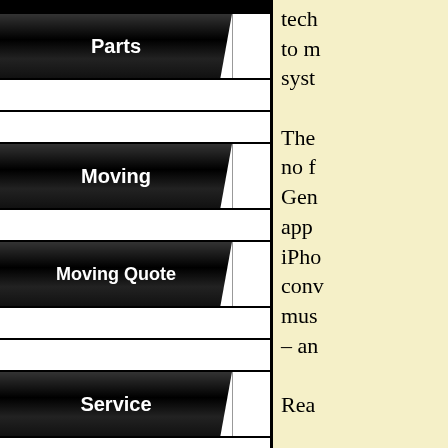[Figure (screenshot): Navigation menu with piano-key style buttons: Parts, Moving, Moving Quote, Service, Videos, Contact Us]
tech to m syst The no f Gen app iPho conv mus – an Rea